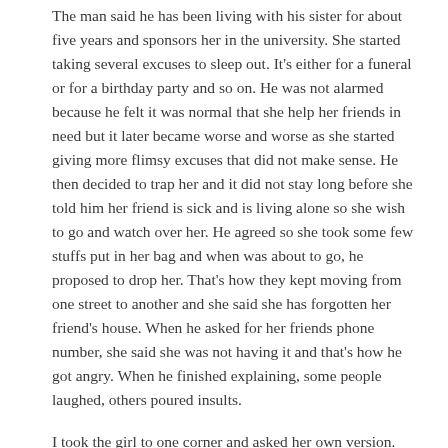The man said he has been living with his sister for about five years and sponsors her in the university. She started taking several excuses to sleep out. It's either for a funeral or for a birthday party and so on. He was not alarmed because he felt it was normal that she help her friends in need but it later became worse and worse as she started giving more flimsy excuses that did not make sense. He then decided to trap her and it did not stay long before she told him her friend is sick and is living alone so she wish to go and watch over her. He agreed so she took some few stuffs put in her bag and when was about to go, he proposed to drop her. That's how they kept moving from one street to another and she said she has forgotten her friend's house. When he asked for her friends phone number, she said she was not having it and that's how he got angry. When he finished explaining, some people laughed, others poured insults.
I took the girl to one corner and asked her own version. She told me all what his brother said is true but the reason she did it was because she was going to see her boyfriend and